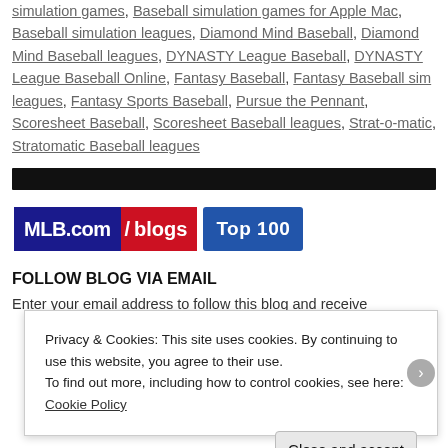simulation games, Baseball simulation games for Apple Mac, Baseball simulation leagues, Diamond Mind Baseball, Diamond Mind Baseball leagues, DYNASTY League Baseball, DYNASTY League Baseball Online, Fantasy Baseball, Fantasy Baseball sim leagues, Fantasy Sports Baseball, Pursue the Pennant, Scoresheet Baseball, Scoresheet Baseball leagues, Strat-o-matic, Stratomatic Baseball leagues
[Figure (logo): MLB.com/blogs Top 100 badge with dark blue, red, and blue sections]
FOLLOW BLOG VIA EMAIL
Enter your email address to follow this blog and receive
Privacy & Cookies: This site uses cookies. By continuing to use this website, you agree to their use. To find out more, including how to control cookies, see here: Cookie Policy
Close and accept